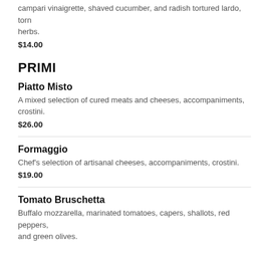campari vinaigrette, shaved cucumber, and radish tortured lardo, torn herbs.
$14.00
PRIMI
Piatto Misto
A mixed selection of cured meats and cheeses, accompaniments, crostini.
$26.00
Formaggio
Chef's selection of artisanal cheeses, accompaniments, crostini.
$19.00
Tomato Bruschetta
Buffalo mozzarella, marinated tomatoes, capers, shallots, red peppers, and green olives.